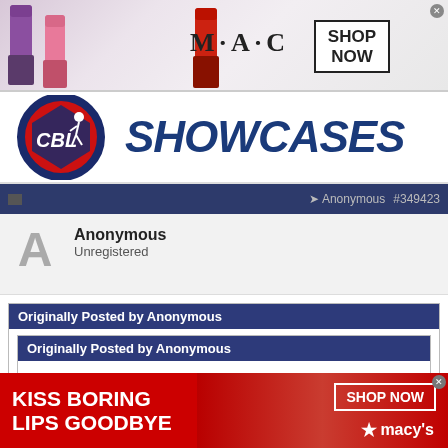[Figure (screenshot): MAC cosmetics advertisement banner with lipsticks, MAC logo, and SHOP NOW button]
[Figure (logo): CBL Showcases banner with CBL logo (red/white/blue circular emblem with baseball player) and SHOWCASES text in dark blue italic]
Anonymous #349423
Anonymous
Unregistered
Originally Posted by Anonymous
Originally Posted by Anonymous
Official visits are not camps. The recruit is no longer proving them self. They are given an itinerary for the visit
[Figure (screenshot): Macy's advertisement banner: KISS BORING LIPS GOODBYE with SHOP NOW button and Macy's star logo]